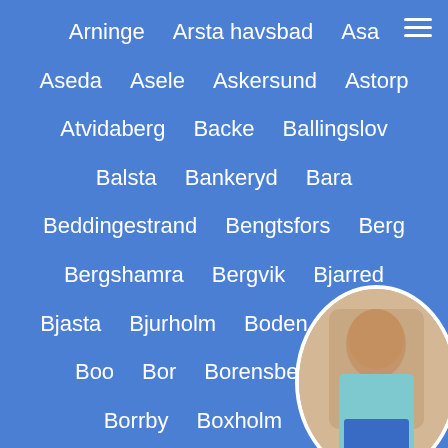Arninge
Arsta havsbad
Asa
Aseda
Asele
Askersund
Astorp
Atvidaberg
Backe
Ballingslov
Balsta
Bankeryd
Bara
Beddingestrand
Bengtsfors
Berg
Bergshamra
Bergvik
Bjarred
Bjasta
Bjurholm
Boden
Bollnas
Boo
Bor
Borensberg
Bo...
Borrby
Boxholm
Bra...
Bruksvallarna
Dalaro
Dal...
[Figure (photo): Circular photo overlay in bottom-right corner showing a person from behind wearing a light blue top and denim shorts]